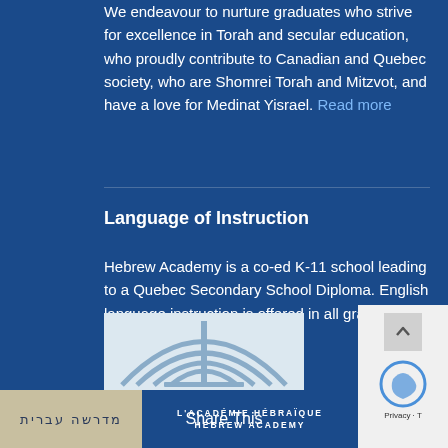We endeavour to nurture graduates who strive for excellence in Torah and secular education, who proudly contribute to Canadian and Quebec society, who are Shomrei Torah and Mitzvot, and have a love for Medinat Yisrael. Read more
Language of Instruction
Hebrew Academy is a co-ed K-11 school leading to a Quebec Secondary School Diploma. English language instruction is offered in all grades, and Section française in K-6.
[Figure (logo): Hebrew Academy / L'Académie Hébraïque logo with menorah emblem, Hebrew text מדרשה עברית, and bilingual academy name]